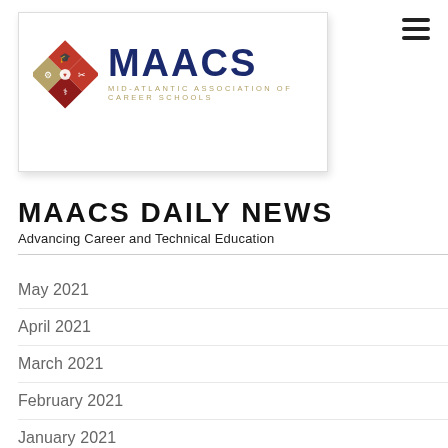[Figure (logo): MAACS logo — Mid-Atlantic Association of Career Schools — diamond-shaped icon with four quadrants (red, tan/gold) containing educational/career symbols (graduation cap, medical stethoscope, tools/gears, scissors/cosmetology), beside bold navy blue text 'MAACS' and subtitle 'MID-ATLANTIC ASSOCIATION OF CAREER SCHOOLS']
MAACS DAILY NEWS
Advancing Career and Technical Education
May 2021
April 2021
March 2021
February 2021
January 2021
December 2020
November 2020